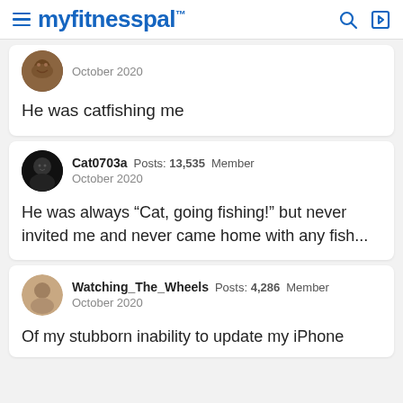myfitnesspal
October 2020
He was catfishing me
Cat0703a Posts: 13,535 Member
October 2020
He was always “Cat, going fishing!” but never invited me and never came home with any fish...
Watching_The_Wheels Posts: 4,286 Member
October 2020
Of my stubborn inability to update my iPhone